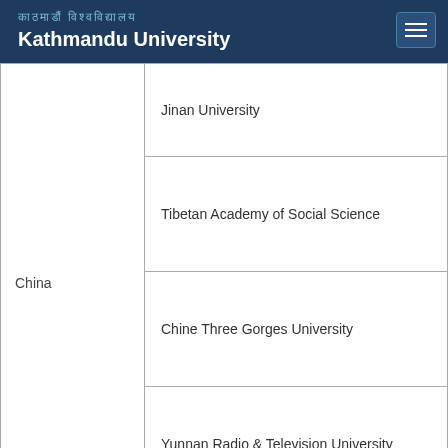काठमाडौं विश्वविद्यालय
Kathmandu University
| Country | Institution |
| --- | --- |
| China | Jinan University |
|  | Tibetan Academy of Social Science |
|  | Chine Three Gorges University |
|  | Yunnan Radio & Television University |
| Denmark | Aarhus University |
| Egypt | Suez Canal University |
| Finland | Helsinki University of Technology |
|  | Hame University of Applied Sciences (HAMK) |